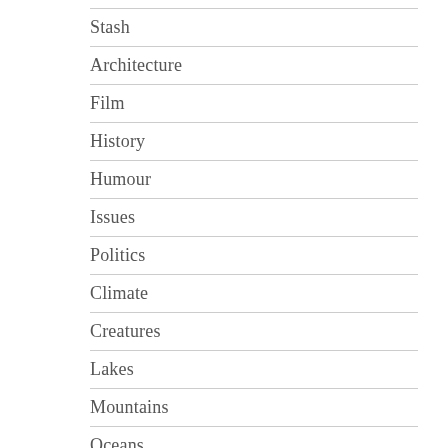Stash
Architecture
Film
History
Humour
Issues
Politics
Climate
Creatures
Lakes
Mountains
Oceans